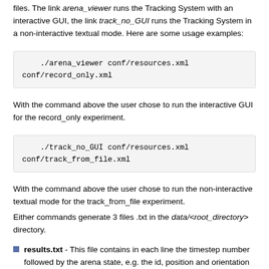files. The link arena_viewer runs the Tracking System with an interactive GUI, the link track_no_GUI runs the Tracking System in a non-interactive textual mode. Here are some usage examples:
./arena_viewer conf/resources.xml
conf/record_only.xml
With the command above the user chose to run the interactive GUI for the record_only experiment.
./track_no_GUI conf/resources.xml
conf/track_from_file.xml
With the command above the user chose to run the non-interactive textual mode for the track_from_file experiment.
Either commands generate 3 files .txt in the data/<root_directory> directory.
results.txt - This file contains in each line the timestep number followed by the arena state, e.g. the id, position and orientation of each robot detected in the corresponding timestep. Each robot entry is structured as follows: <robot_id> <x position in pixels within the image> <y position in pixels within the image> <orientation in degrees with